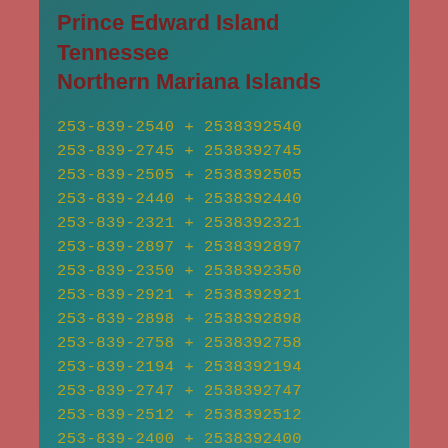Prince Edward Island
Tennessee
Northern Mariana Islands
253-839-2540 + 2538392540
253-839-2745 + 2538392745
253-839-2505 + 2538392505
253-839-2440 + 2538392440
253-839-2321 + 2538392321
253-839-2897 + 2538392897
253-839-2350 + 2538392350
253-839-2921 + 2538392921
253-839-2898 + 2538392898
253-839-2758 + 2538392758
253-839-2194 + 2538392194
253-839-2747 + 2538392747
253-839-2512 + 2538392512
253-839-2400 + 2538392400
253-839-2787 + 2538392787
253-839-2530 + 2538392530